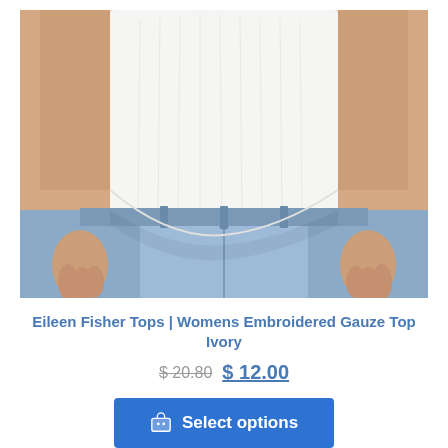[Figure (photo): Close-up photo of a woman wearing a white loose gauze top and light blue jeans, shown from chest to mid-thigh, hands at sides.]
Eileen Fisher Tops | Womens Embroidered Gauze Top Ivory
$ 20.80  $ 12.00
Select options